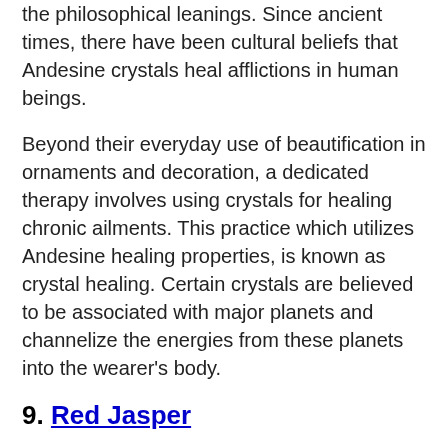the philosophical leanings. Since ancient times, there have been cultural beliefs that Andesine crystals heal afflictions in human beings.
Beyond their everyday use of beautification in ornaments and decoration, a dedicated therapy involves using crystals for healing chronic ailments. This practice which utilizes Andesine healing properties, is known as crystal healing. Certain crystals are believed to be associated with major planets and channelize the energies from these planets into the wearer's body.
9. Red Jasper
The greatest healer is Jasper. Throughout difficult situations, it maintains and encourages you. It promotes completeness and serves as a reminder to aid and love one another. Jasper may also be utilized in energy leveling and designs since it connects